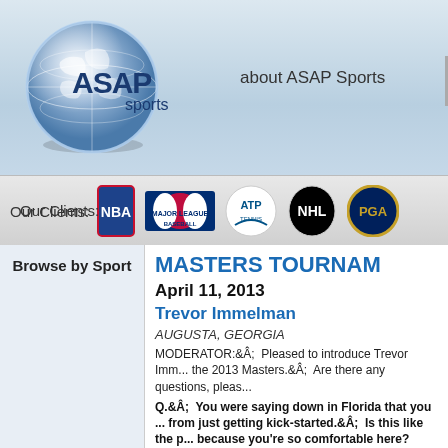[Figure (logo): ASAP Sports logo with globe graphic]
about ASAP Sports
[Figure (logo): Client logos: NBA, Major League Baseball, ATP, NHL, PGA]
Our Clients:
Browse by Sport
MASTERS TOURNAM
April 11, 2013
Trevor Immelman
AUGUSTA, GEORGIA
MODERATOR:  Pleased to introduce Trevor Immelman... the 2013 Masters.  Are there any questions, plea...
Q.  You were saying down in Florida that you ... from just getting kick-started.  Is this like the p... because you're so comfortable here? TREVOR IMMELMAN:  It would be nice.  You k... nice to go out there and score well.